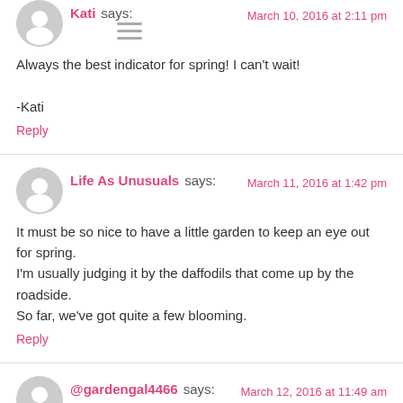Kati says:
March 10, 2016 at 2:11 pm
Always the best indicator for spring! I can't wait!
-Kati
Reply
Life As Unusuals says:
March 11, 2016 at 1:42 pm
It must be so nice to have a little garden to keep an eye out for spring. I'm usually judging it by the daffodils that come up by the roadside. So far, we've got quite a few blooming.
Reply
@gardengal4466 says:
March 12, 2016 at 11:49 am